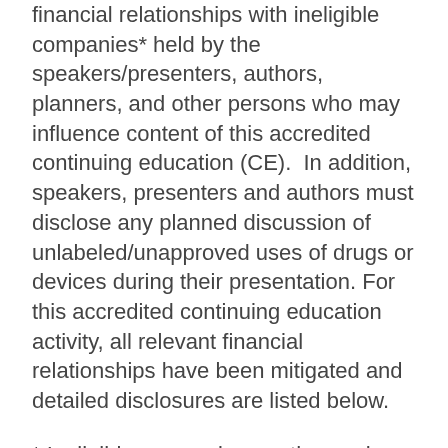financial relationships with ineligible companies* held by the speakers/presenters, authors, planners, and other persons who may influence content of this accredited continuing education (CE).  In addition, speakers, presenters and authors must disclose any planned discussion of unlabeled/unapproved uses of drugs or devices during their presentation. For this accredited continuing education activity, all relevant financial relationships have been mitigated and detailed disclosures are listed below.
* Ineligible companies are those whose primary business is producing, marketing, selling, re-selling, or distributing healthcare products used by or on patients. The ACCME does not consider providers of clinical service directly to patients to be